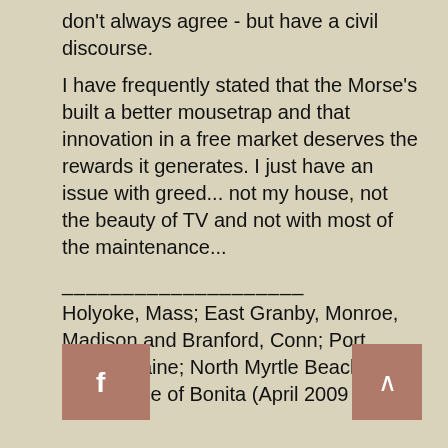don't always agree - but have a civil discourse.
I have frequently stated that the Morse's built a better mousetrap and that innovation in a free market deserves the rewards it generates. I just have an issue with greed... not my house, not the beauty of TV and not with most of the maintenance...
____________________
Holyoke, Mass; East Granby, Monroe, Madison and Branford, Conn; Port Clyde, Maine; North Myrtle Beach, SC; The Village of Bonita (April 2009 - )
[Figure (other): Facebook social media button icon (white 'f' on brownish square)]
[Figure (other): Scroll-to-top button with upward caret arrow on brownish square]